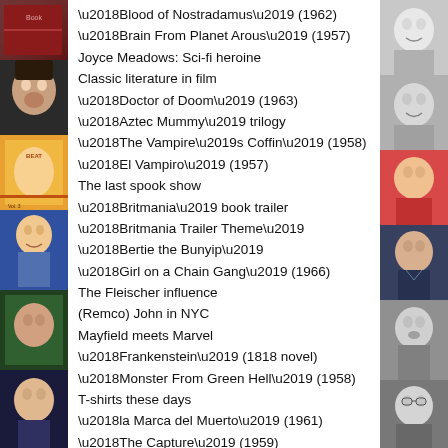[Figure (photo): Left strip of collaged photos/illustrations including people and album covers]
‘Blood of Nostradamus’ (1962)
‘Brain From Planet Arous’ (1957)
Joyce Meadows: Sci-fi heroine
Classic literature in film
‘Doctor of Doom’ (1963)
‘Aztec Mummy’ trilogy
‘The Vampire’s Coffin’ (1958)
‘El Vampiro’ (1957)
The last spook show
‘Britmania’ book trailer
‘Britmania Trailer Theme’
‘Bertie the Bunyip’
‘Girl on a Chain Gang’ (1966)
The Fleischer influence
(Remco) John in NYC
Mayfield meets Marvel
‘Frankenstein’ (1818 novel)
‘Monster From Green Hell’ (1958)
T-shirts these days
‘la Marca del Muerto’ (1961)
‘The Capture’ (1959)
[Figure (photo): Right strip of collaged black-and-white and color photos of people]